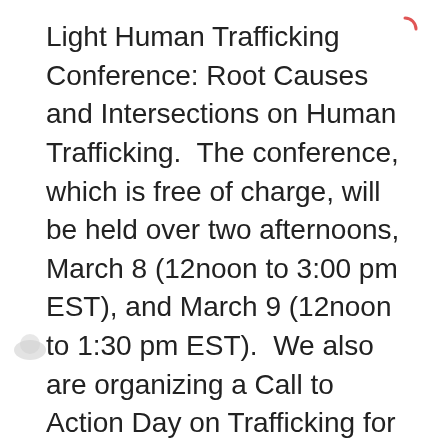Light Human Trafficking Conference: Root Causes and Intersections on Human Trafficking.  The conference, which is free of charge, will be held over two afternoons, March 8 (12noon to 3:00 pm EST), and March 9 (12noon to 1:30 pm EST).  We also are organizing a Call to Action Day on Trafficking for March 9.
Register at http://bit.ly/2021traffickingconference
Building on the success of our previous in-person Human Trafficking Conferences in 2018 and 2019, this year's participants will hear from expert presenters with a wealth of...